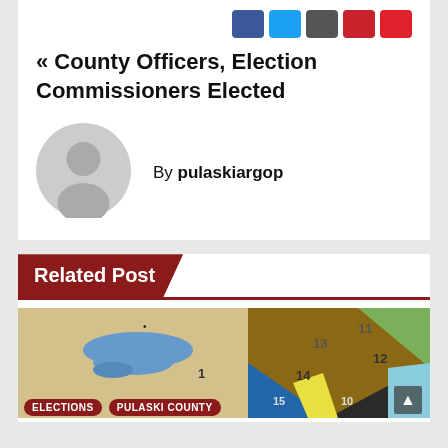[Figure (other): Social share buttons: Facebook (blue), Twitter (light blue), Email (dark gray), Pinterest (red), Reddit (red)]
« County Officers, Election Commissioners Elected
[Figure (photo): Generic gray user avatar silhouette in a circle]
By pulaskiargop
Related Post
[Figure (map): Colored district map showing numbered regions (1, 11, 12, 13, 14, 15, 10) with various colors including blue, brown, green, yellow, tan. Tags at bottom: ELECTIONS, PULASKI COUNTY]